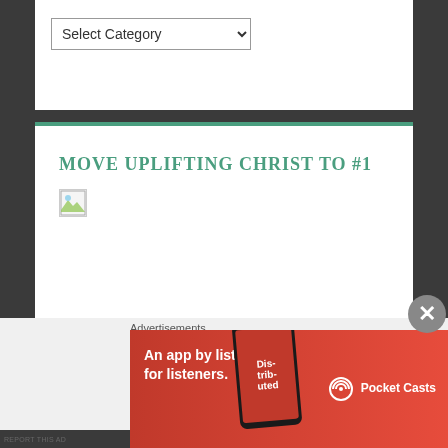Select Category
MOVE UPLIFTING CHRIST TO #1
[Figure (illustration): Broken/missing image placeholder icon]
LIKE UPLIFTING CHRIST ON FACEBOOK
FOLLOW UPLIFTING CHRIST ON
Advertisements
[Figure (photo): Pocket Casts advertisement banner: red background with text 'An app by listeners, for listeners.' and Pocket Casts logo with a phone showing 'Distributed' on screen]